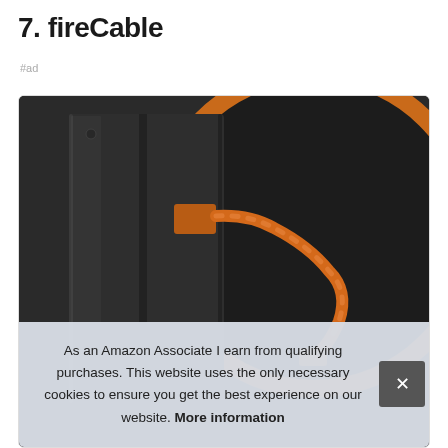7. fireCable
#ad
[Figure (photo): Product photo of fireCable: an orange braided micro USB cable connected to a dark tablet/device back, shown against a circular dark background with an orange ring border]
As an Amazon Associate I earn from qualifying purchases. This website uses the only necessary cookies to ensure you get the best experience on our website. More information